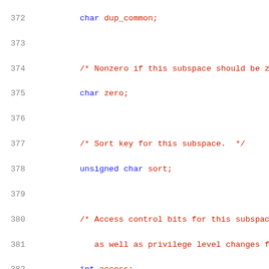[Figure (screenshot): Source code listing showing C struct field definitions with line numbers 372-392+. Fields include dup_common (char), zero (char) with comment about nonzero if subspace should be zero, sort (unsigned char) with sort key comment, access (int) with access control bits comment, space_index (int) with index of containing space comment, alignment (int) with alignment in bytes comment, quadrant (int) with quadrant within space comment.]